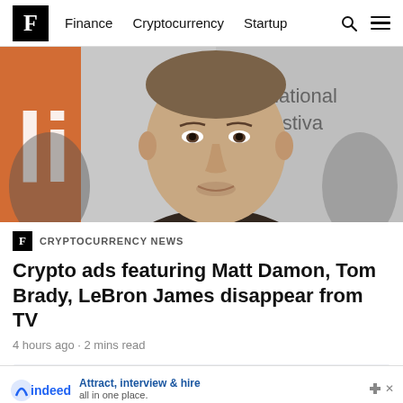F Finance Cryptocurrency Startup
[Figure (photo): Close-up photo of a man (Matt Damon) at a film festival backdrop reading 'international film festival']
CRYPTOCURRENCY NEWS
Crypto ads featuring Matt Damon, Tom Brady, LeBron James disappear from TV
4 hours ago · 2 mins read
[Figure (other): Light grey advertisement placeholder box]
[Figure (other): Indeed advertisement banner: 'Attract, interview & hire all in one place.']